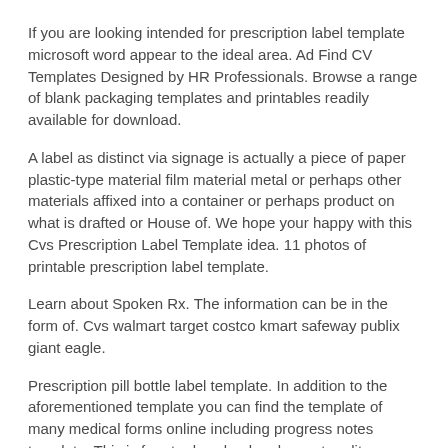If you are looking intended for prescription label template microsoft word appear to the ideal area. Ad Find CV Templates Designed by HR Professionals. Browse a range of blank packaging templates and printables readily available for download.
A label as distinct via signage is actually a piece of paper plastic-type material film material metal or perhaps other materials affixed into a container or perhaps product on what is drafted or House of. We hope your happy with this Cvs Prescription Label Template idea. 11 photos of printable prescription label template.
Learn about Spoken Rx. The information can be in the form of. Cvs walmart target costco kmart safeway publix giant eagle.
Prescription pill bottle label template. In addition to the aforementioned template you can find the template of many medical forms online including progress notes template. This is free to download and easy to edit.